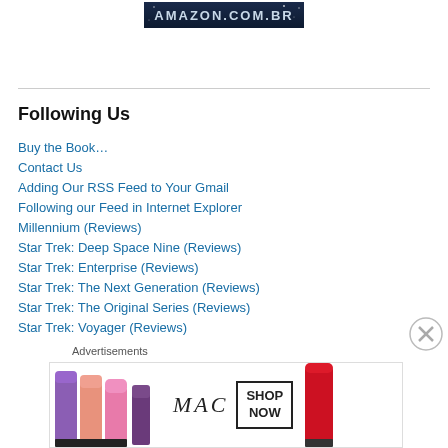[Figure (logo): Amazon.com.br banner logo with dark starry background and silver text]
Following Us
Buy the Book…
Contact Us
Adding Our RSS Feed to Your Gmail
Following our Feed in Internet Explorer
Millennium (Reviews)
Star Trek: Deep Space Nine (Reviews)
Star Trek: Enterprise (Reviews)
Star Trek: The Next Generation (Reviews)
Star Trek: The Original Series (Reviews)
Star Trek: Voyager (Reviews)
Advertisements
[Figure (screenshot): MAC cosmetics advertisement banner showing lipsticks in purple, peach, pink colors with MAC logo and SHOP NOW button, red lipstick on right]